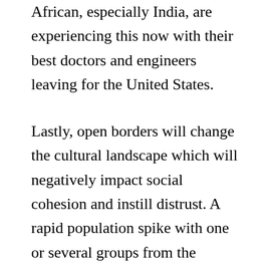African, especially India, are experiencing this now with their best doctors and engineers leaving for the United States.
Lastly, open borders will change the cultural landscape which will negatively impact social cohesion and instill distrust. A rapid population spike with one or several groups from the outside will be almost impossible for the host country to immediately embrace. For such growth will result in a clash of cultures and values, thus causing the host country to lose its social equilibrium. A slower integration policy may be more manageable for a host country. As I mentioned